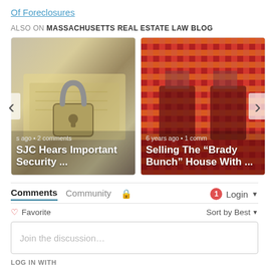Of Foreclosures
ALSO ON MASSACHUSETTS REAL ESTATE LAW BLOG
[Figure (photo): Two blog post preview cards: left card shows a padlock on money with title 'SJC Hears Important Security ...' and meta 's ago • 2 comments'; right card shows a colorful patterned room with title 'Selling The "Brady Bunch" House With ...' and meta '6 years ago • 1 comm']
Comments  Community  🔒  1  Login
♡ Favorite   Sort by Best
Join the discussion…
LOG IN WITH